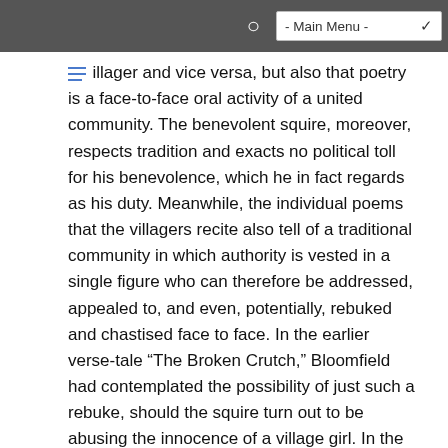- Main Menu -
illager and vice versa, but also that poetry is a face-to-face oral activity of a united community. The benevolent squire, moreover, respects tradition and exacts no political toll for his benevolence, which he in fact regards as his duty. Meanwhile, the individual poems that the villagers recite also tell of a traditional community in which authority is vested in a single figure who can therefore be addressed, appealed to, and even, potentially, rebuked and chastised face to face. In the earlier verse-tale “The Broken Crutch,” Bloomfield had contemplated the possibility of just such a rebuke, should the squire turn out to be abusing the innocence of a village girl. In the event, the squire’s intentions are pure: he marries her, and her uncle does not need to beat him. The ideal village, for Bloomfield, is self-policing: the squire respects his tenants and they him. This was an